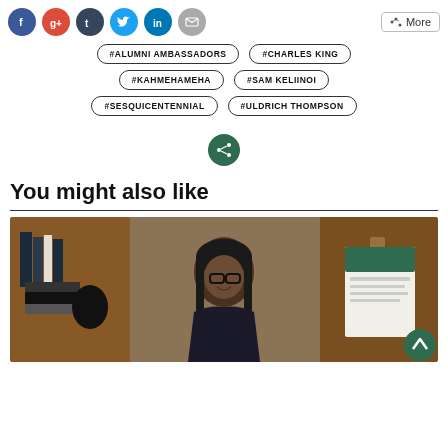[Figure (infographic): Social media sharing icons row: Facebook (blue circle), Google+ (red circle), Tumblr (dark circle), Twitter (light blue circle), LinkedIn (blue circle), Email (gray circle), and a 'More' button with share icon]
#ALUMNI AMBASSADORS
#CHARLES KING
#KAHMEHAMEHA
#SAM KELIINOI
#SESQUICENTENNIAL
#ULDRICH THOMPSON
[Figure (infographic): Green circular share button with share icon]
You might also like
[Figure (photo): Photo of a woman with glasses and long dark hair sitting at a desk in front of a wooden bookshelf, smiling at the camera. A brochure or pamphlet is visible on the right side.]